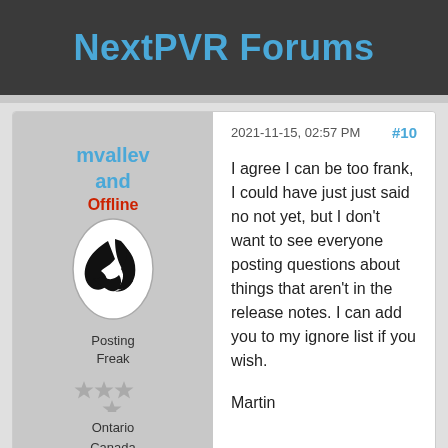NextPVR Forums
mvallev and Offline
[Figure (illustration): Oval avatar image with black and white stylized basketball/leaf logo on white oval background]
Posting Freak
Ontario Canada
Posts: 43,382 Threads:
2021-11-15, 02:57 PM #10
I agree I can be too frank, I could have just just said no not yet, but I don't want to see everyone posting questions about things that aren't in the release notes. I can add you to my ignore list if you wish.

Martin